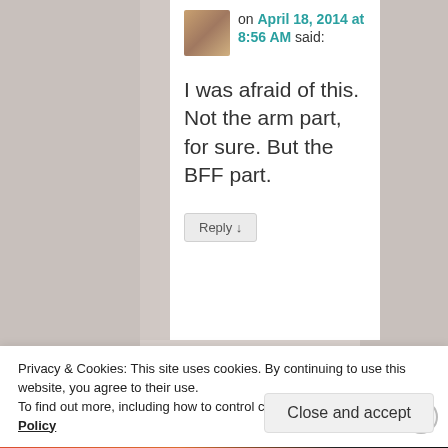on April 18, 2014 at 8:56 AM said:
I was afraid of this. Not the arm part, for sure. But the BFF part.
Reply ↓
Privacy & Cookies: This site uses cookies. By continuing to use this website, you agree to their use.
To find out more, including how to control cookies, see here: Cookie Policy
Close and accept